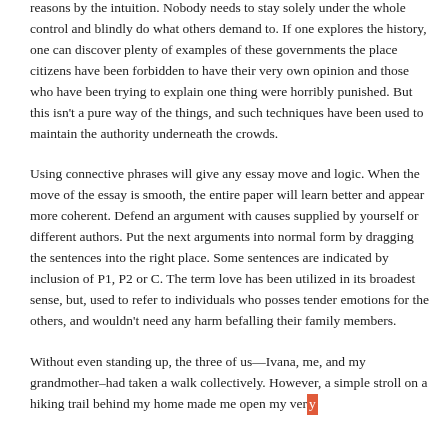People couldn't resist with out thinking, and they aim for the reasons by the intuition. Nobody needs to stay solely under the whole control and blindly do what others demand to. If one explores the history, one can discover plenty of examples of these governments the place citizens have been forbidden to have their very own opinion and those who have been trying to explain one thing were horribly punished. But this isn't a pure way of the things, and such techniques have been used to maintain the authority underneath the crowds.
Using connective phrases will give any essay move and logic. When the move of the essay is smooth, the entire paper will learn better and appear more coherent. Defend an argument with causes supplied by yourself or different authors. Put the next arguments into normal form by dragging the sentences into the right place. Some sentences are indicated by inclusion of P1, P2 or C. The term love has been utilized in its broadest sense, but, used to refer to individuals who posses tender emotions for the others, and wouldn't need any harm befalling their family members.
Without even standing up, the three of us—Ivana, me, and my grandmother–had taken a walk collectively. However, a simple stroll on a hiking trail behind my home made me open my very…